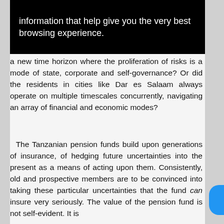information that help give you the very best browsing experience.
a new time horizon where the proliferation of risks is a mode of state, corporate and self-governance? Or did the residents in cities like Dar es Salaam always operate on multiple timescales concurrently, navigating an array of financial and economic modes?
The Tanzanian pension funds build upon generations of insurance, of hedging future uncertainties into the present as a means of acting upon them. Consistently, old and prospective members are to be convinced into taking these particular uncertainties that the fund can insure very seriously. The value of the pension fund is not self-evident. It is